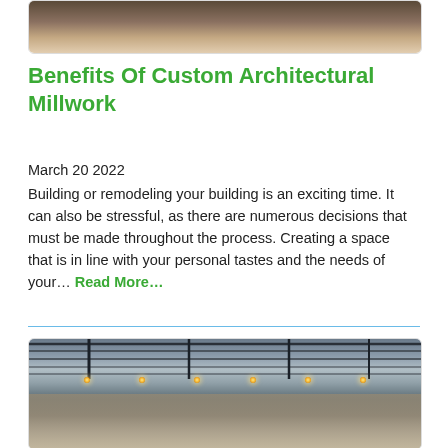[Figure (photo): Interior architectural photo showing hardwood floor and furniture, partially visible at top of page]
Benefits Of Custom Architectural Millwork
March 20 2022
Building or remodeling your building is an exciting time. It can also be stressful, as there are numerous decisions that must be made throughout the process. Creating a space that is in line with your personal tastes and the needs of your... Read More...
[Figure (photo): Interior photo of a restaurant or commercial space with industrial-style ceiling, hanging Edison bulb lights, and bar/kitchen area visible]